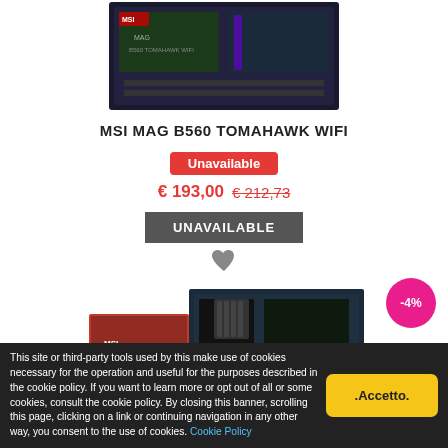[Figure (photo): MSI MAG B560 TOMAHAWK WIFI motherboard product photo (top, partial)]
MSI MAG B560 TOMAHAWK WIFI
Unavailable
€ 193,00 € 212,73
UNAVAILABLE
[Figure (photo): Second motherboard product photo with -4% discount badge]
This site or third-party tools used by this make use of cookies necessary for the operation and useful for the purposes described in the cookie policy. If you want to learn more or opt out of all or some cookies, consult the cookie policy. By closing this banner, scrolling this page, clicking on a link or continuing navigation in any other way, you consent to the use of cookies. Cookie Policy